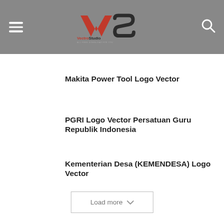VectroStudio — ALL FREE DOWNLOAD FOR YOU
Makita Power Tool Logo Vector
PGRI Logo Vector Persatuan Guru Republik Indonesia
Kementerian Desa (KEMENDESA) Logo Vector
Load more